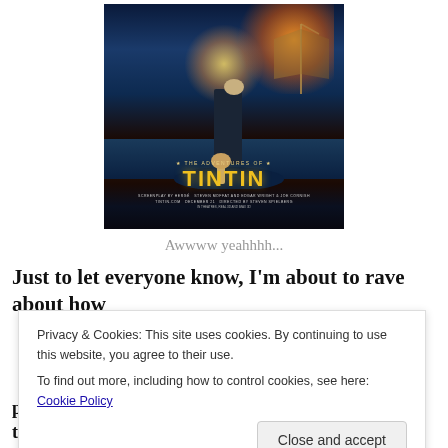[Figure (photo): Movie poster for 'The Adventures of Tintin' directed by Steven Spielberg. Shows a figure of Tintin standing on a dark rocky surface with a dog beside him, a ship and explosion in the background. Yellow title text 'TINTIN' with '* THE ADVENTURES OF *' above it. Credits mention Steven Moffat, Edgar Wright, Joe Cornish, TINTIN.COM, December 21, Steven Spielberg.]
Awwww yeahhhh...
Just to let everyone know, I'm about to rave about how
Privacy & Cookies: This site uses cookies. By continuing to use this website, you agree to their use.
To find out more, including how to control cookies, see here: Cookie Policy
pardon my French, is my shizz. I love Tintin and his trusty